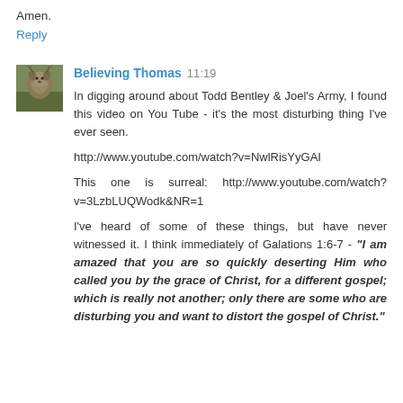Amen.
Reply
Believing Thomas  11:19
In digging around about Todd Bentley & Joel's Army, I found this video on You Tube - it's the most disturbing thing I've ever seen.
http://www.youtube.com/watch?v=NwlRisYyGAI
This one is surreal: http://www.youtube.com/watch?v=3LzbLUQWodk&NR=1
I've heard of some of these things, but have never witnessed it. I think immediately of Galations 1:6-7 - "I am amazed that you are so quickly deserting Him who called you by the grace of Christ, for a different gospel; which is really not another; only there are some who are disturbing you and want to distort the gospel of Christ."